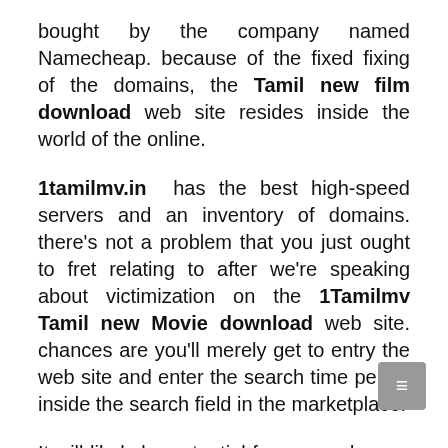bought by the company named Namecheap. because of the fixed fixing of the domains, the Tamil new film download web site resides inside the world of the online.
1tamilmv.in has the best high-speed servers and an inventory of domains. there's not a problem that you just ought to fret relating to after we're speaking about victimization on the 1Tamilmv Tamil new Movie download web site. chances are you'll merely get to entry the web site and enter the search time period inside the search field in the marketplace.
It will likely be potential for any and every consumer to easily get regardless of recreation content material they're